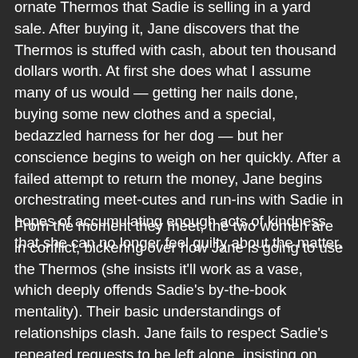ornate Thermos that Sadie is selling in a yard sale. After buying it, Jane discovers that the Thermos is stuffed with cash, about ten thousand dollars worth. At first she does what I assume many of us would — getting her nails done, buying some new clothes and a special, bedazzled harness for her dog — but her conscience begins to weigh on her quickly. After a failed attempt to return the money, Jane begins orchestrating meet-cutes and run-ins with Sadie in hopes of accumulating enough acts of kindness that she can no longer feel guilty about the matter.
From the moment they meet, the two women are in conflict, bickering over how Jane is going to use the Thermos (she insists it'll work as a vase, which deeply offends Sadie's by-the-book mentality). Their basic understandings of relationships clash. Jane fails to respect Sadie's repeated requests to be left alone, insisting on driving Sadie home from the grocery store and showing up to her weekly Bingo